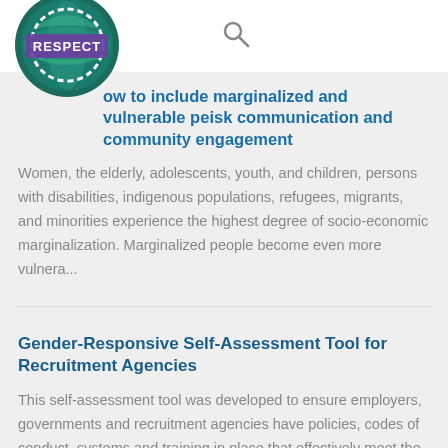[Figure (logo): RESPECT circular logo with green globe and purple stamp text]
How to include marginalized and vulnerable people in risk communication and community engagement
Women, the elderly, adolescents, youth, and children, persons with disabilities, indigenous populations, refugees, migrants, and minorities experience the highest degree of socio-economic marginalization. Marginalized people become even more vulnera...
Gender-Responsive Self-Assessment Tool for Recruitment Agencies
This self-assessment tool was developed to ensure employers, governments and recruitment agencies have policies, codes of conduct, systems and training in place that effectively meet the needs of women migrant workers. The tool was developed by UN W...